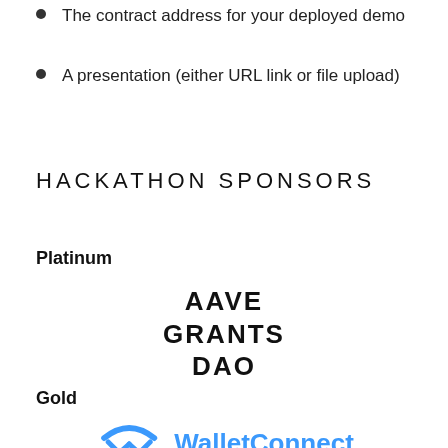The contract address for your deployed demo
A presentation (either URL link or file upload)
HACKATHON SPONSORS
Platinum
[Figure (logo): AAVE GRANTS DAO logo in bold uppercase stacked text]
Gold
[Figure (logo): WalletConnect logo with blue arc/diamond icon and blue WalletConnect text]